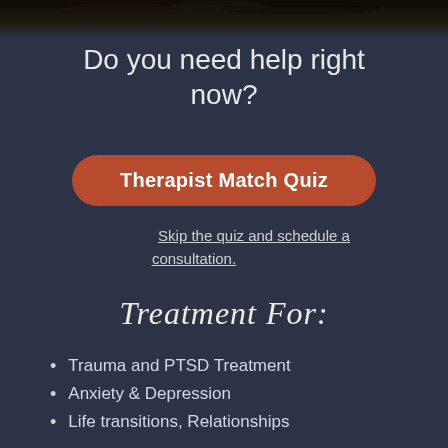[Figure (photo): Dark natural background image at top of page, showing dark earthy/forest tones fading into the dark background]
Do you need help right now?
Therapist Match Quiz
Skip the quiz and schedule a consultation.
Treatment For:
Trauma and PTSD Treatment
Anxiety & Depression
Life transitions, Relationships